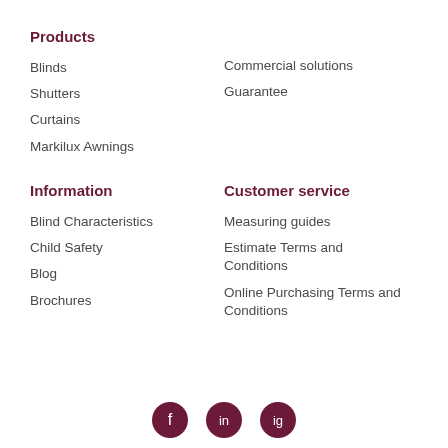Products
Blinds
Shutters
Curtains
Markilux Awnings
Commercial solutions
Guarantee
Information
Blind Characteristics
Child Safety
Blog
Brochures
Customer service
Measuring guides
Estimate Terms and Conditions
Online Purchasing Terms and Conditions
[Figure (illustration): Three circular social media / brand icons at bottom center]